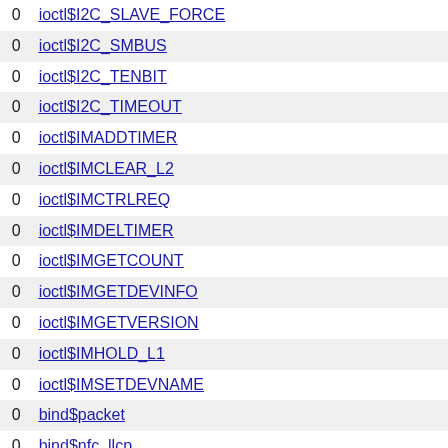|  |  |
| --- | --- |
| 0 | ioctl$I2C_SLAVE_FORCE |
| 0 | ioctl$I2C_SMBUS |
| 0 | ioctl$I2C_TENBIT |
| 0 | ioctl$I2C_TIMEOUT |
| 0 | ioctl$IMADDTIMER |
| 0 | ioctl$IMCLEAR_L2 |
| 0 | ioctl$IMCTRLREQ |
| 0 | ioctl$IMDELTIMER |
| 0 | ioctl$IMGETCOUNT |
| 0 | ioctl$IMGETDEVINFO |
| 0 | ioctl$IMGETVERSION |
| 0 | ioctl$IMHOLD_L1 |
| 0 | ioctl$IMSETDEVNAME |
| 0 | bind$packet |
| 0 | bind$nfc_llcp |
| 0 | bind$netrom |
| 0 | bind$netlink |
| 0 | bind$llc |
| 0 | ioctl$INOTIFY_IOC_SETNEXTWD |
| 0 | ioctl$IOCTL_CONFIG_SYS_RESOURCE_PARAMETER |